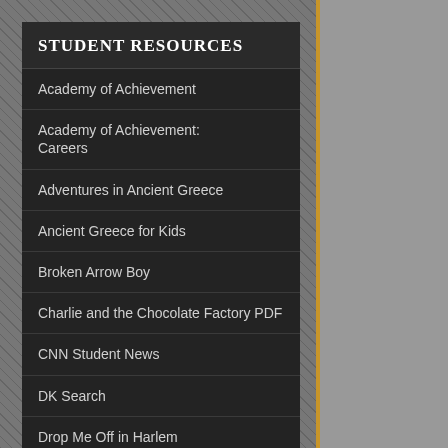Student Resources
Academy of Achievement
Academy of Achievement: Careers
Adventures in Ancient Greece
Ancient Greece for Kids
Broken Arrow Boy
Charlie and the Chocolate Factory PDF
CNN Student News
DK Search
Drop Me Off in Harlem
Harlem Renaissance Art
Microscope Photography
2TD is in full swing w... published in 2019 in o... evaluating and judgin... by the Caldecott com...
3PA is more than half... City.  We will continu... discuss how Lisa has ...